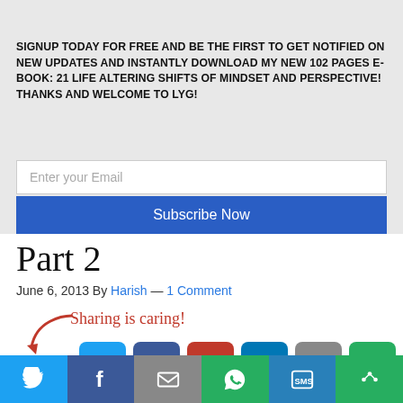Join Our Newsletter
SIGNUP TODAY FOR FREE AND BE THE FIRST TO GET NOTIFIED ON NEW UPDATES AND INSTANTLY DOWNLOAD MY NEW 102 PAGES E-BOOK: 21 LIFE ALTERING SHIFTS OF MINDSET AND PERSPECTIVE! THANKS AND WELCOME TO LYG!
Enter your Email
Subscribe Now
Part 2
June 6, 2013 By Harish — 1 Comment
[Figure (infographic): Sharing is caring! label with arrow and social share icons: Twitter, Facebook, Pinterest, LinkedIn, Reddit, More]
[Figure (screenshot): Dark image strip at bottom]
Social share bottom bar: Twitter, Facebook, Email, WhatsApp, SMS, More